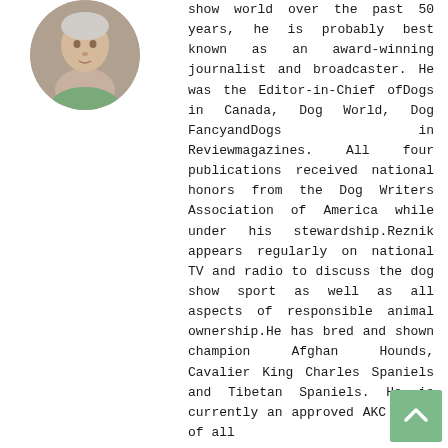[Figure (photo): Circular portrait photo of a person, cropped to show head and shoulders against a light background.]
show world over the past 50 years, he is probably best known as an award-winning journalist and broadcaster. He was the Editor-in-Chief ofDogs in Canada, Dog World, Dog FancyandDogs in Reviewmagazines. All four publications received national honors from the Dog Writers Association of America while under his stewardship.Reznik appears regularly on national TV and radio to discuss the dog show sport as well as all aspects of responsible animal ownership.He has bred and shown champion Afghan Hounds, Cavalier King Charles Spaniels and Tibetan Spaniels. He is currently an approved AKC judge of all